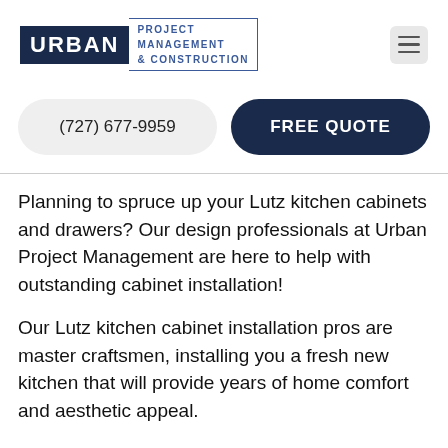[Figure (logo): Urban Project Management & Construction logo with dark navy background for URBAN text and blue outlined box for PROJECT MANAGEMENT & CONSTRUCTION text]
(727) 677-9959
FREE QUOTE
Planning to spruce up your Lutz kitchen cabinets and drawers? Our design professionals at Urban Project Management are here to help with outstanding cabinet installation!
Our Lutz kitchen cabinet installation pros are master craftsmen, installing you a fresh new kitchen that will provide years of home comfort and aesthetic appeal.